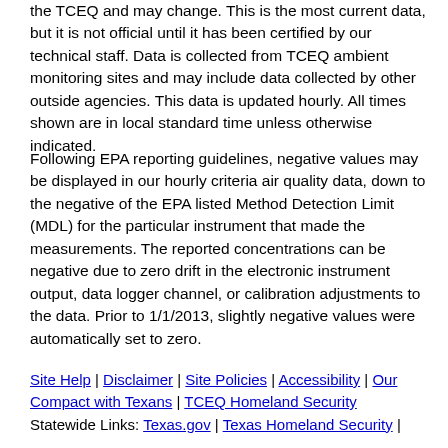the TCEQ and may change. This is the most current data, but it is not official until it has been certified by our technical staff. Data is collected from TCEQ ambient monitoring sites and may include data collected by other outside agencies. This data is updated hourly. All times shown are in local standard time unless otherwise indicated.
Following EPA reporting guidelines, negative values may be displayed in our hourly criteria air quality data, down to the negative of the EPA listed Method Detection Limit (MDL) for the particular instrument that made the measurements. The reported concentrations can be negative due to zero drift in the electronic instrument output, data logger channel, or calibration adjustments to the data. Prior to 1/1/2013, slightly negative values were automatically set to zero.
Site Help | Disclaimer | Site Policies | Accessibility | Our Compact with Texans | TCEQ Homeland Security
Statewide Links: Texas.gov | Texas Homeland Security |